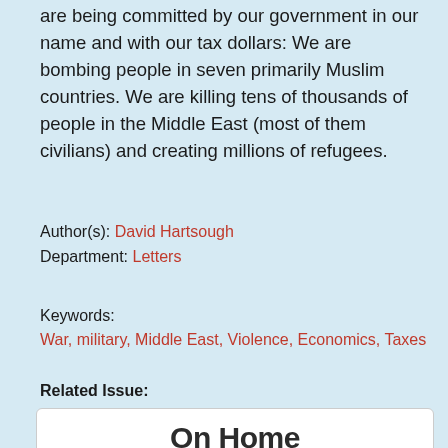are being committed by our government in our name and with our tax dollars: We are bombing people in seven primarily Muslim countries. We are killing tens of thousands of people in the Middle East (most of them civilians) and creating millions of refugees.
Author(s): David Hartsough
Department: Letters
Keywords:
War, military, Middle East, Violence, Economics, Taxes
Related Issue:
On Home
Issue Months: Read
September 2017 more